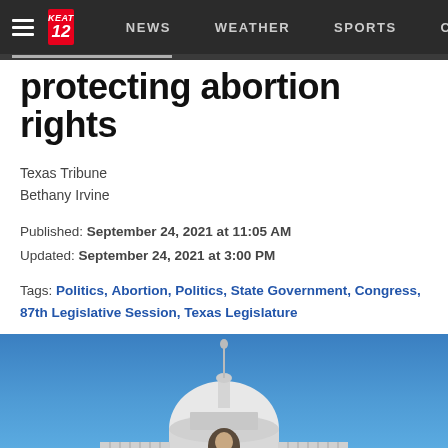NEWS   WEATHER   SPORTS   CO...
protecting abortion rights
Texas Tribune
Bethany Irvine
Published: September 24, 2021 at 11:05 AM
Updated: September 24, 2021 at 3:00 PM
Tags: Politics, Abortion, Politics, State Government, Congress, 87th Legislative Session, Texas Legislature
[Figure (photo): Photo of a person in front of the US Capitol building against a blue sky]